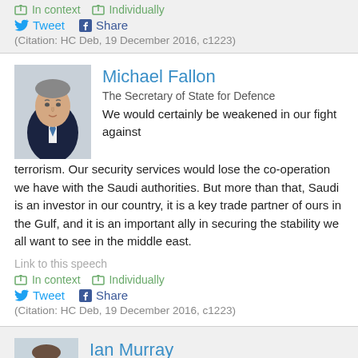In context   Individually
Tweet   Share
(Citation: HC Deb, 19 December 2016, c1223)
[Figure (photo): Portrait photo of Michael Fallon]
Michael Fallon
The Secretary of State for Defence
We would certainly be weakened in our fight against terrorism. Our security services would lose the co-operation we have with the Saudi authorities. But more than that, Saudi is an investor in our country, it is a key trade partner of ours in the Gulf, and it is an important ally in securing the stability we all want to see in the middle east.
Link to this speech
In context   Individually
Tweet   Share
(Citation: HC Deb, 19 December 2016, c1223)
[Figure (photo): Portrait photo of Ian Murray]
Ian Murray